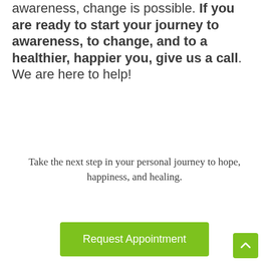awareness, change is possible. If you are ready to start your journey to awareness, to change, and to a healthier, happier you, give us a call. We are here to help!
Take the next step in your personal journey to hope, happiness, and healing.